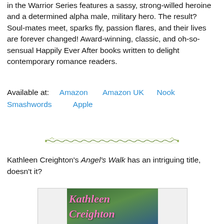in the Warrior Series features a sassy, strong-willed heroine and a determined alpha male, military hero. The result? Soul-mates meet, sparks fly, passion flares, and their lives are forever changed! Award-winning, classic, and oh-so-sensual Happily Ever After books written to delight contemporary romance readers.
Available at:   Amazon   Amazon UK   Nook   Smashwords   Apple
[Figure (illustration): Decorative green ornamental divider line]
Kathleen Creighton's Angel's Walk has an intriguing title, doesn't it?
[Figure (photo): Book cover showing 'Kathleen Creighton' text in pink cursive script over a green and blue background with a woman's face visible at the bottom]